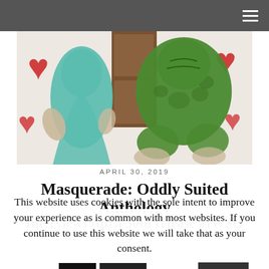≡
[Figure (illustration): 3D rendered illustration showing fantasy/alien creatures — a teal lizard-like figure in a dress on the left and a large green textured creature seated on the right, with red heart shapes on a patterned background]
APRIL 30, 2019
Masquerade: Oddly Suited Anthology
Interviews April 30th release #IWSG
This website uses cookies with the sole intent to improve your experience as is common with most websites. If you continue to use this website we will take that as your consent.
OK  Reject  Read More  Follow